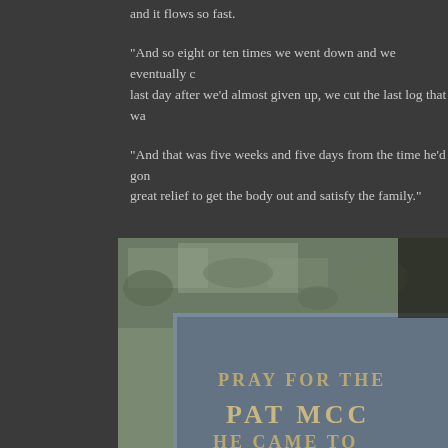and it flows so fast.
"And so eight or ten times we went down and we eventually c... last day after we'd almost given up, we cut the last log that wa...
"And that was five weeks and five days from the time he'd gon... great relief to get the body out and satisfy the family."
[Figure (photo): Close-up photograph of a weathered stone grave marker or memorial stone with carved text reading 'PRAY FOR THE', 'PAT MCG...', 'HE CAME TO...' The stone appears aged with moss and weathering. The stone has a beveled border frame.]